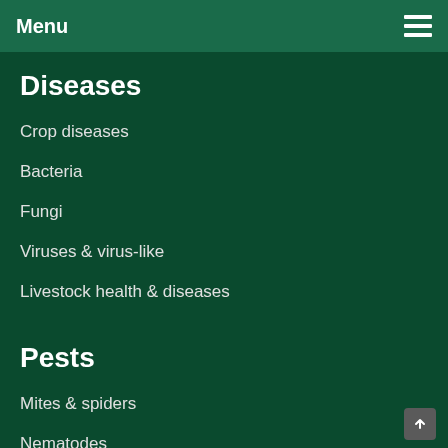Menu
Diseases
Crop diseases
Bacteria
Fungi
Viruses & virus-like
Livestock health & diseases
Pests
Mites & spiders
Nematodes
Pest animals
Pest insects
Control methods
Mechanical, physical and cultural